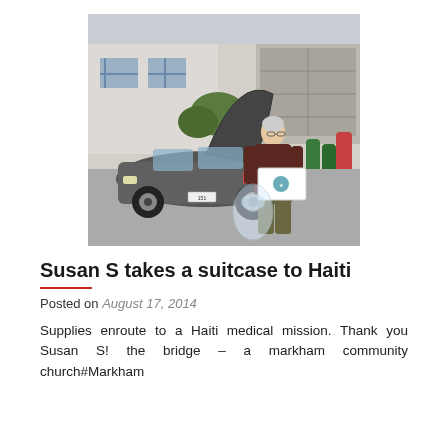[Figure (photo): A woman with short grey hair stands beside a grey car with its trunk open, holding a white box and a clear plastic bag. A suburban driveway and garage are visible in the background.]
Susan S takes a suitcase to Haiti
Posted on August 17, 2014
Supplies enroute to a Haiti medical mission. Thank you Susan S! the bridge – a markham community church#Markham